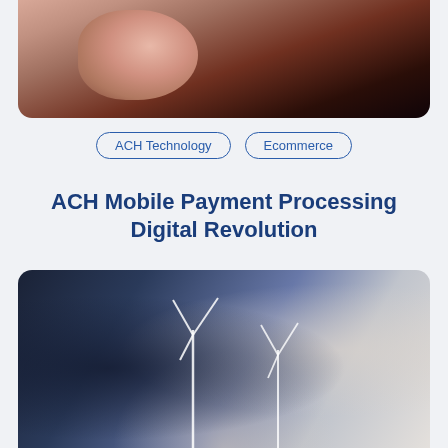[Figure (photo): Close-up photo of a hand holding something, with dark brown background, partially cropped at top]
ACH Technology
Ecommerce
ACH Mobile Payment Processing Digital Revolution
Learn about the ACH Mobile Payment Processing and how to make secure payments on the go. Grow your...
[Figure (photo): Two business professionals in dark suits examining wind turbine models and small architectural models on a table]